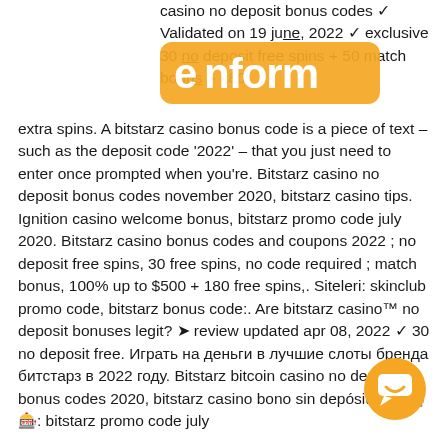[Figure (logo): enform orange logo overlaid on top of text]
casino no deposit bonus codes ✓ Validated on 19 june, 2022 ✓ exclusive 30 no deposit free spins + 50 match bonus + 180 extra spins. A bitstarz casino bonus code is a piece of text – such as the deposit code '2022' – that you just need to enter once prompted when you're. Bitstarz casino no deposit bonus codes november 2020, bitstarz casino tips. Ignition casino welcome bonus, bitstarz promo code july 2020. Bitstarz casino bonus codes and coupons 2022 ; no deposit free spins, 30 free spins, no code required ; match bonus, 100% up to $500 + 180 free spins,. Siteleri: skinclub promo code, bitstarz bonus code:. Are bitstarz casino™ no deposit bonuses legit? ➤ review updated apr 08, 2022 ✓ 30 no deposit free. Играть на деньги в лучшие слоты бренда битстарз в 2022 году. Bitstarz bitcoin casino no deposit bonus codes 2020, bitstarz casino bono sin depósito. 🎰🎰🎰: bitstarz promo code july
[Figure (other): Orange circular chat/message button in bottom right corner]